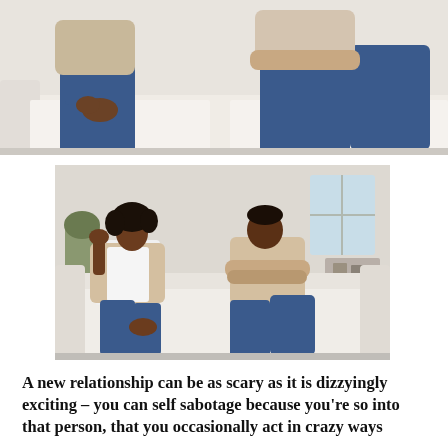[Figure (photo): Cropped photo of two people sitting on a white sofa, showing their torsos and legs in jeans, arms folded or resting on laps, suggesting tension or disagreement between a couple.]
[Figure (photo): Photo of a Black couple sitting on a white sofa facing away from each other. The woman on the left has curly hair and rests her hand on her head, looking distressed, wearing a white top and beige blazer with jeans. The man on the right has arms crossed, looking away, wearing a beige shirt and jeans. A bright living room with shelves and a window is visible in the background.]
A new relationship can be as scary as it is dizzyingly exciting – you can self sabotage because you're so into that person, that you occasionally act in crazy ways